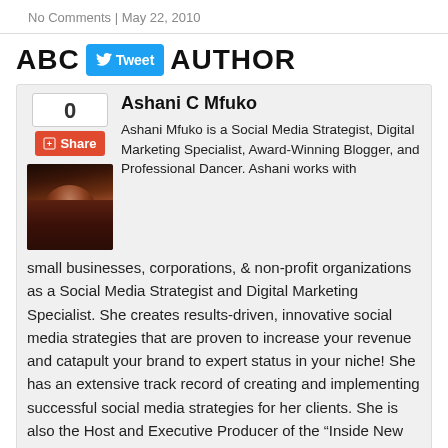No Comments | May 22, 2010
ABOUT AUTHOR
0
[Figure (photo): Portrait photo of Ashani C Mfuko, a woman in a dark ruffled top with a decorative brooch]
Ashani C Mfuko
Ashani Mfuko is a Social Media Strategist, Digital Marketing Specialist, Award-Winning Blogger, and Professional Dancer. Ashani works with small businesses, corporations, & non-profit organizations as a Social Media Strategist and Digital Marketing Specialist. She creates results-driven, innovative social media strategies that are proven to increase your revenue and catapult your brand to expert status in your niche! She has an extensive track record of creating and implementing successful social media strategies for her clients. She is also the Host and Executive Producer of the “Inside New York City Dance”